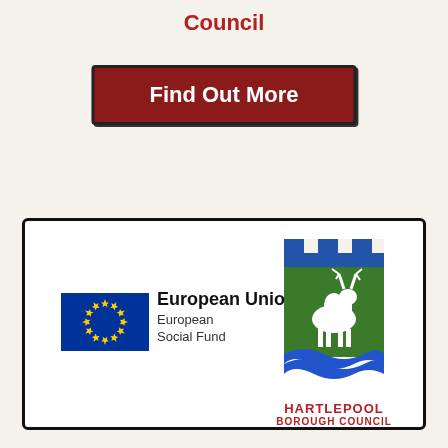Council
Find Out More
[Figure (logo): European Union European Social Fund flag logo and Hartlepool Borough Council logo inside a hand-drawn bordered box]